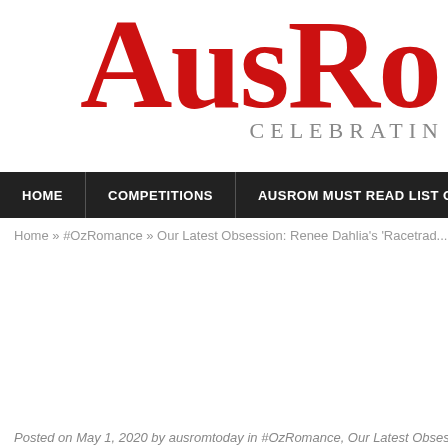AusRo
CELEBRATIN
HOME | COMPETITIONS | AUSROM MUST READ LIST OF 201
Home » #OzRomance » Our Latest Obsession: Renee Dahlia's 'Racetrac...
Privacy & Cookies: This site uses cookies. By continuing to use this website, you agree to their use.
To find out more, including how to control cookies, see here: Cookie Policy
Close and accept
Posted on May 1, 2020 by ausromtoday in #OzRomance, Our Latest Obsessi...